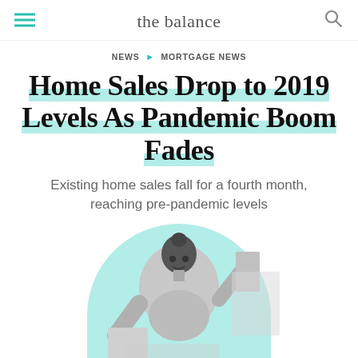the balance
NEWS > MORTGAGE NEWS
Home Sales Drop to 2019 Levels As Pandemic Boom Fades
Existing home sales fall for a fourth month, reaching pre-pandemic levels
[Figure (photo): Black woman with hair in a bun lifting or moving items, shown in grayscale, positioned inside a circular teal background crop]